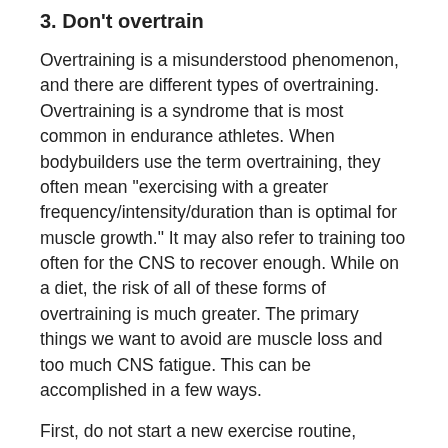3. Don't overtrain
Overtraining is a misunderstood phenomenon, and there are different types of overtraining. Overtraining is a syndrome that is most common in endurance athletes. When bodybuilders use the term overtraining, they often mean "exercising with a greater frequency/intensity/duration than is optimal for muscle growth." It may also refer to training too often for the CNS to recover enough. While on a diet, the risk of all of these forms of overtraining is much greater. The primary things we want to avoid are muscle loss and too much CNS fatigue. This can be accomplished in a few ways.
First, do not start a new exercise routine, especially a